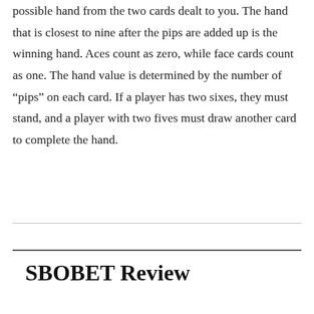possible hand from the two cards dealt to you. The hand that is closest to nine after the pips are added up is the winning hand. Aces count as zero, while face cards count as one. The hand value is determined by the number of "pips" on each card. If a player has two sixes, they must stand, and a player with two fives must draw another card to complete the hand.
SBOBET Review